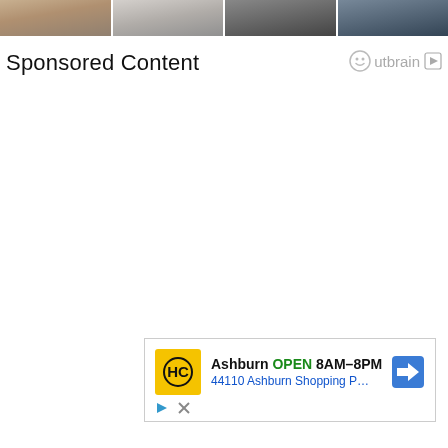[Figure (photo): Row of four partially cropped portrait photos of women against white background, showing shoulders and faces cropped at top]
Sponsored Content
[Figure (logo): Outbrain logo with smiley face icon and play button triangle]
[Figure (infographic): Advertisement box for Ashburn location showing HC logo, open hours 8AM-8PM, address 44110 Ashburn Shopping P..., navigation arrow icon, and ad disclosure icons]